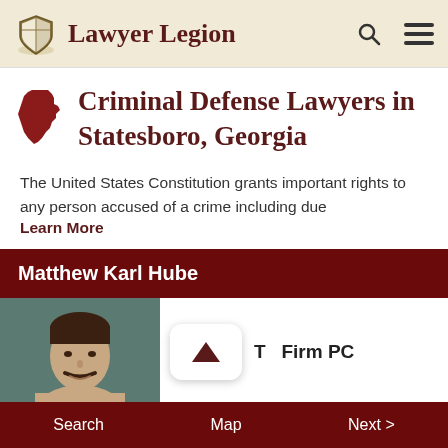Lawyer Legion
Criminal Defense Lawyers in Statesboro, Georgia
The United States Constitution grants important rights to any person accused of a crime including due Learn More
Matthew Karl Hube
[Figure (photo): Headshot photo of Matthew Karl Hube, a man with dark hair and mustache, against a teal/green background]
Firm PC
Search   Map   Next >